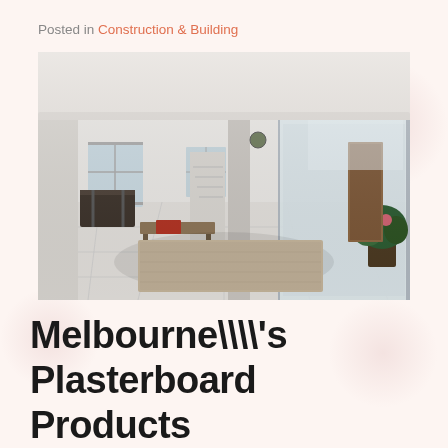Posted in Construction & Building
[Figure (photo): Interior of a bright, modern house with white tiled floors, large mirror glass walls, a beige area rug in the center, plants, and a staircase in the background.]
Melbourne\\'s Plasterboard Products Wholesalers!